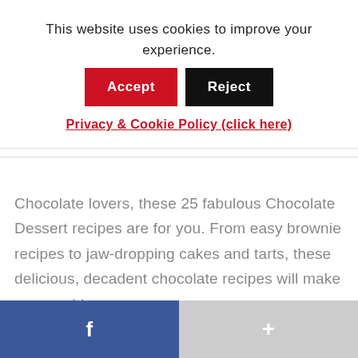This website uses cookies to improve your experience.
Accept | Reject
Privacy & Cookie Policy (click here)
Chocolate lovers, these 25 fabulous Chocolate Dessert recipes are for you. From easy brownie recipes to jaw-dropping cakes and tarts, these delicious, decadent chocolate recipes will make you want to
f  +